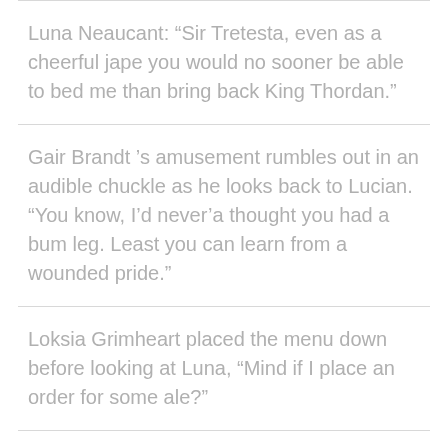Luna Neaucant: “Sir Tretesta, even as a cheerful jape you would no sooner be able to bed me than bring back King Thordan.”
Gair Brandt ’s amusement rumbles out in an audible chuckle as he looks back to Lucian. “You know, I’d never’a thought you had a bum leg. Least you can learn from a wounded pride.”
Loksia Grimheart placed the menu down before looking at Luna, “Mind if I place an order for some ale?”